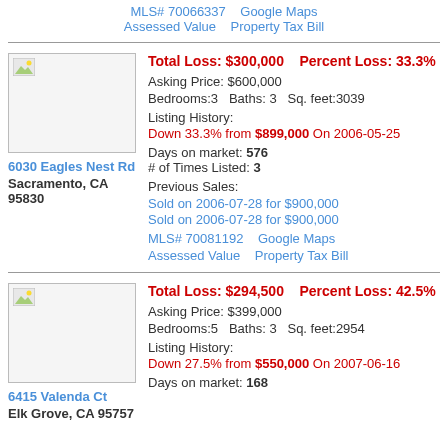MLS# 70066337   Google Maps
Assessed Value   Property Tax Bill
[Figure (photo): Placeholder image box for property photo]
Total Loss: $300,000   Percent Loss: 33.3%
Asking Price: $600,000
Bedrooms:3   Baths: 3   Sq. feet:3039
Listing History:
Down 33.3% from $899,000 On 2006-05-25
6030 Eagles Nest Rd
Sacramento, CA 95830
Days on market: 576
# of Times Listed: 3
Previous Sales:
Sold on 2006-07-28 for $900,000
Sold on 2006-07-28 for $900,000
MLS# 70081192   Google Maps
Assessed Value   Property Tax Bill
[Figure (photo): Placeholder image box for property photo]
Total Loss: $294,500   Percent Loss: 42.5%
Asking Price: $399,000
Bedrooms:5   Baths: 3   Sq. feet:2954
Listing History:
Down 27.5% from $550,000 On 2007-06-16
6415 Valenda Ct
Elk Grove, CA 95757
Days on market: 168